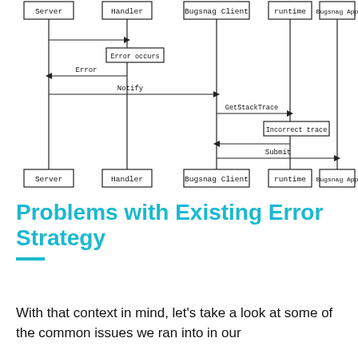[Figure (flowchart): Sequence diagram showing interactions between Server, Handler, Bugsnag Client, runtime, and Bugsnag App. Steps include: arrow from Server to Handler, 'Error occurs' box on Handler, Error arrow back to Server, Notify arrow to Bugsnag Client, GetStackTrace arrow to runtime, 'Incorrect trace' box on runtime, arrow back to Bugsnag Client, Submit arrow to Bugsnag App. Lifeline boxes repeated at bottom.]
Problems with Existing Error Strategy
With that context in mind, let’s take a look at some of the common issues we ran into in our